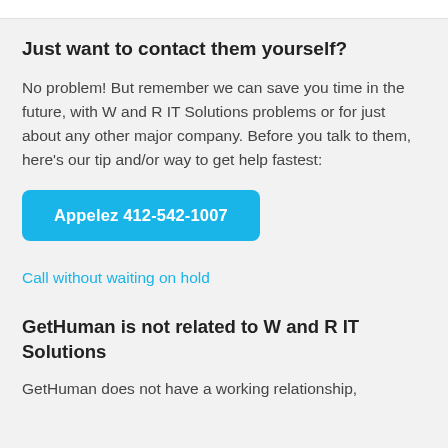Just want to contact them yourself?
No problem! But remember we can save you time in the future, with W and R IT Solutions problems or for just about any other major company. Before you talk to them, here's our tip and/or way to get help fastest:
[Figure (other): Blue button with text 'Appelez 412-542-1007']
Call without waiting on hold
GetHuman is not related to W and R IT Solutions
GetHuman does not have a working relationship,